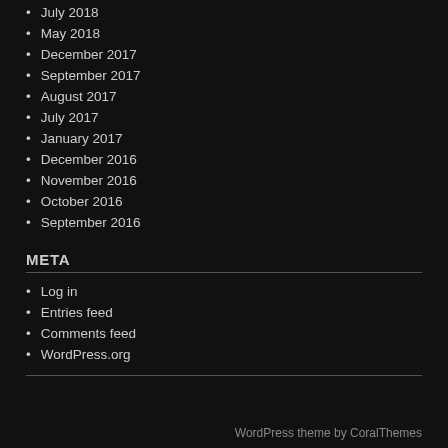July 2018
May 2018
December 2017
September 2017
August 2017
July 2017
January 2017
December 2016
November 2016
October 2016
September 2016
META
Log in
Entries feed
Comments feed
WordPress.org
WordPress theme by CoralThemes